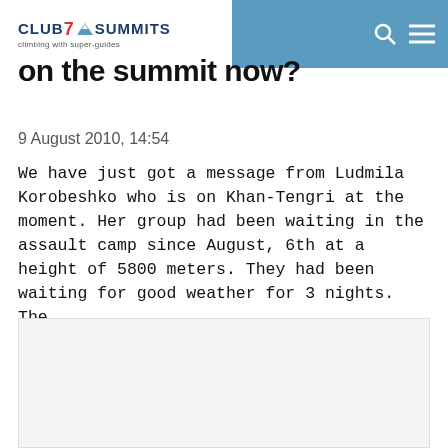Club 7 Summits — climbing with super-guides
on the summit now?
9 August 2010, 14:54
We have just got a message from Ludmila Korobeshko who is on Khan-Tengri at the moment. Her group had been waiting in the assault camp since August, 6th at a height of 5800 meters. They had been waiting for good weather for 3 nights. The … read more »
[Figure (photo): Blank/placeholder image area at bottom of page]